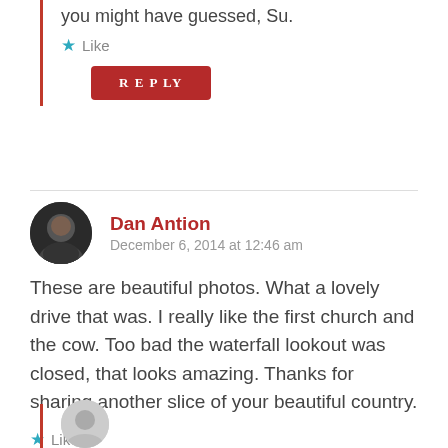you might have guessed, Su.
Like
REPLY
Dan Antion
December 6, 2014 at 12:46 am
These are beautiful photos. What a lovely drive that was. I really like the first church and the cow. Too bad the waterfall lookout was closed, that looks amazing. Thanks for sharing another slice of your beautiful country.
Like
REPLY